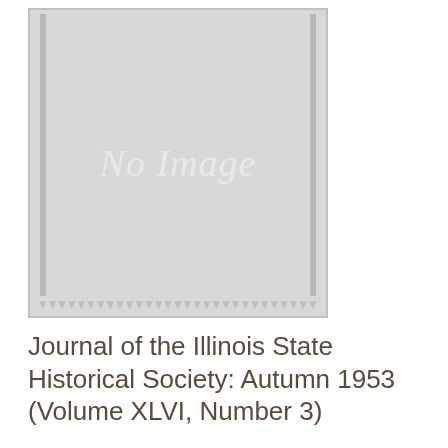[Figure (other): A placeholder image with a grey background and decorative dot border on all sides reading 'No Image' in italic white text]
Journal of the Illinois State Historical Society: Autumn 1953 (Volume XLVI, Number 3)